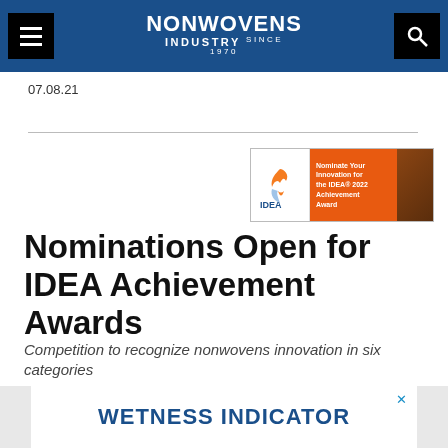NONWOVENS INDUSTRY
07.08.21
[Figure (other): IDEA Achievement Award promotional banner advertisement with orange background, IDEA logo, flame bird logo, and text 'Nominate Your Innovation for the IDEA 2022 Achievement Award']
Nominations Open for IDEA Achievement Awards
Competition to recognize nonwovens innovation in six categories
07.08.21
[Figure (other): Bottom advertisement banner with text 'WETNESS INDICATOR' in dark blue bold letters on white background]